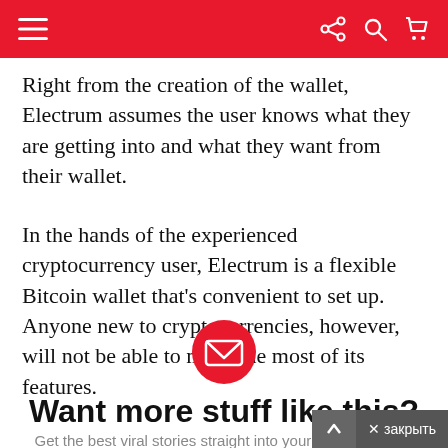Right from the creation of the wallet, Electrum assumes the user knows what they are getting into and what they want from their wallet.
In the hands of the experienced cryptocurrency user, Electrum is a flexible Bitcoin wallet that's convenient to set up. Anyone new to cryptocurrencies, however, will not be able to make the most of its features.
[Figure (illustration): Red circle with white envelope/mail icon]
Want more stuff like this?
Get the best viral stories straight into your inbox!